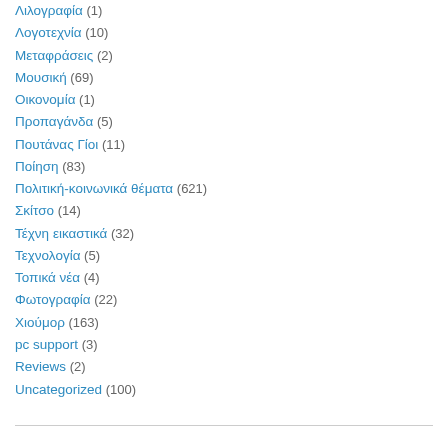Λιλογραφία (1)
Λογοτεχνία (10)
Μεταφράσεις (2)
Μουσική (69)
Οικονομία (1)
Προπαγάνδα (5)
Πουτάνας Γίοι (11)
Ποίηση (83)
Πολιτική-κοινωνικά θέματα (621)
Σκίτσο (14)
Τέχνη εικαστικά (32)
Τεχνολογία (5)
Τοπικά νέα (4)
Φωτογραφία (22)
Χιούμορ (163)
pc support (3)
Reviews (2)
Uncategorized (100)